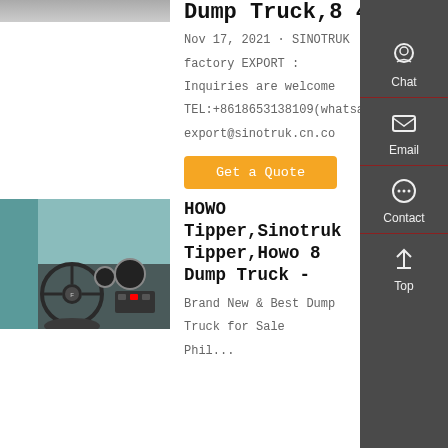[Figure (photo): Partial top of dump truck photo, cropped at top of page]
Dump Truck,8 4
Nov 17, 2021 · SINOTRUK factory EXPORT : Inquiries are welcome TEL:+8618653138109(whatsa export@sinotruk.cn.co
Get a Quote
[Figure (photo): HOWO truck interior/cab photo showing steering wheel and dashboard]
HOWO Tipper,Sinotruk Tipper,Howo 8 4 Dump Truck -
Brand New & Best Dump Truck for Sale Phil...